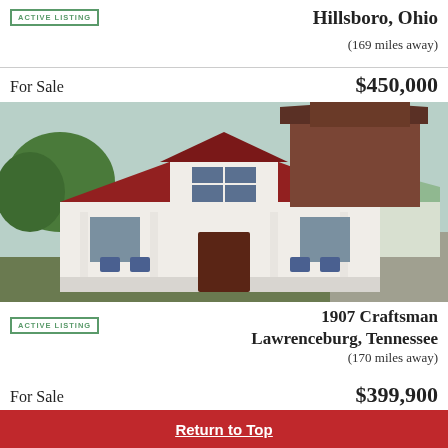[Figure (other): Active Listing badge for Hillsboro, Ohio property]
Hillsboro, Ohio
(169 miles away)
For Sale
$450,000
[Figure (photo): Photo of a 1907 Craftsman house in Lawrenceburg, Tennessee — white two-story home with red roof and front porch]
1907 Craftsman
Lawrenceburg, Tennessee
(170 miles away)
[Figure (other): Active Listing badge]
For Sale
$399,900
[Figure (photo): Partial photo of a house with brick gabled facade and winter trees]
Return to Top